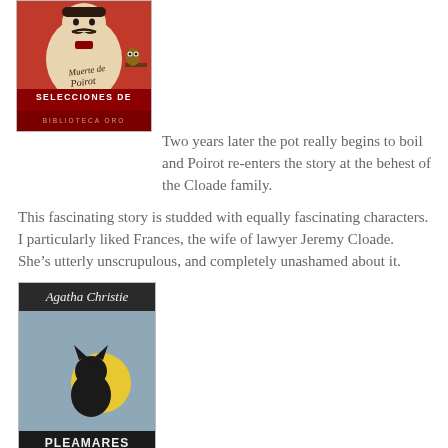[Figure (photo): Book cover for 'Selecciones de Biblioteca Oro' featuring Hercule Poirot, red background with illustration of a stout man with a moustache and an owl on a shelf, with handwritten text 'Muerte de Poirot']
Two years later the pot really begins to boil and Poirot re-enters the story at the behest of the Cloade family.
This fascinating story is studded with equally fascinating characters. I particularly liked Frances, the wife of lawyer Jeremy Cloade. She’s utterly unscrupulous, and completely unashamed about it.
[Figure (photo): Book cover for 'Pleamares de la Vida' by Agatha Christie, dark background with silhouette of a black cat sitting in front of a yellow moon, text at bottom reads POIROT]